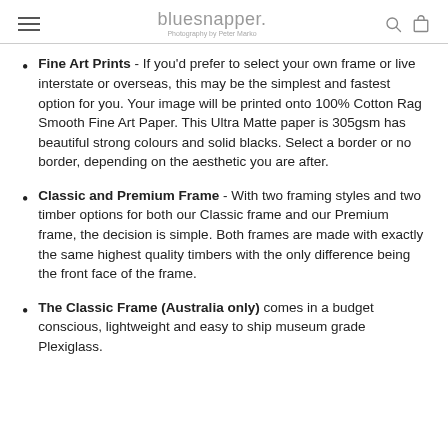bluesnapper. Photography by Peter Marko
Fine Art Prints - If you'd prefer to select your own frame or live interstate or overseas, this may be the simplest and fastest option for you. Your image will be printed onto 100% Cotton Rag Smooth Fine Art Paper. This Ultra Matte paper is 305gsm has beautiful strong colours and solid blacks. Select a border or no border, depending on the aesthetic you are after.
Classic and Premium Frame - With two framing styles and two timber options for both our Classic frame and our Premium frame, the decision is simple. Both frames are made with exactly the same highest quality timbers with the only difference being the front face of the frame.
The Classic Frame (Australia only) comes in a budget conscious, lightweight and easy to ship museum grade Plexiglass.